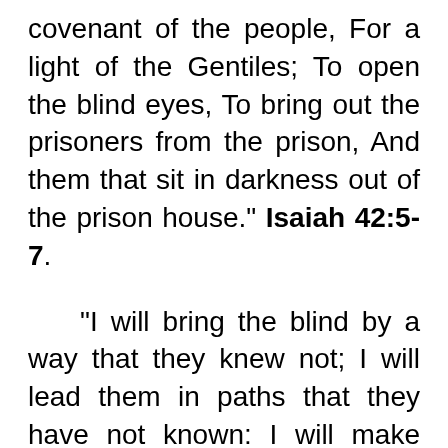covenant of the people, For a light of the Gentiles; To open the blind eyes, To bring out the prisoners from the prison, And them that sit in darkness out of the prison house." Isaiah 42:5-7.
"I will bring the blind by a way that they knew not; I will lead them in paths that they have not known: I will make darkness light before them, And crooked things